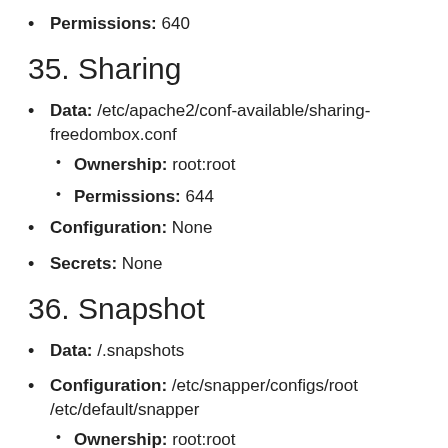Permissions: 640
35. Sharing
Data: /etc/apache2/conf-available/sharing-freedombox.conf
Ownership: root:root
Permissions: 644
Configuration: None
Secrets: None
36. Snapshot
Data: /.snapshots
Configuration: /etc/snapper/configs/root /etc/default/snapper
Ownership: root:root
Secrets: None